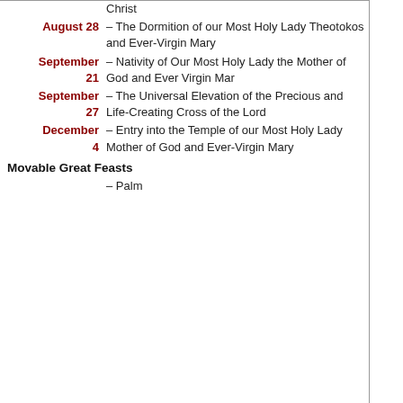| Date | Feast |
| --- | --- |
| August 28 | – The Dormition of our Most Holy Lady Theotokos and Ever-Virgin Mary |
| September 21 | – Nativity of Our Most Holy Lady the Mother of God and Ever Virgin Mar |
| September 27 | – The Universal Elevation of the Precious and Life-Creating Cross of the Lord |
| December 4 | – Entry into the Temple of our Most Holy Lady Mother of God and Ever-Virgin Mary |
Movable Great Feasts
– Palm